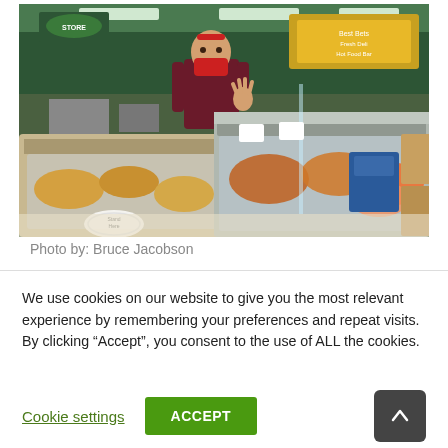[Figure (photo): A deli store worker wearing a red mask waving behind a refrigerated display counter with food items. Green walls and store signage visible in background.]
Photo by: Bruce Jacobson
We use cookies on our website to give you the most relevant experience by remembering your preferences and repeat visits. By clicking “Accept”, you consent to the use of ALL the cookies.
Cookie settings | ACCEPT